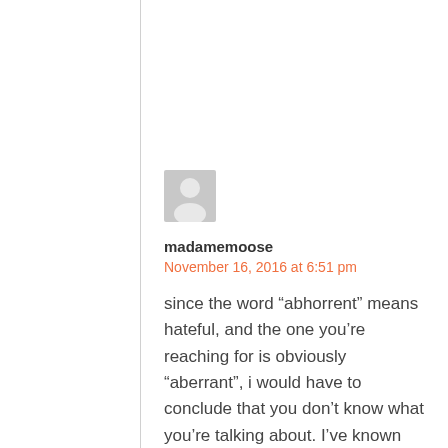[Figure (illustration): Generic user avatar icon — grey silhouette of a person on light grey background]
madamemoose
November 16, 2016 at 6:51 pm
since the word “abhorrent” means hateful, and the one you’re reaching for is obviously “aberrant”, i would have to conclude that you don’t know what you’re talking about. I’ve known for years that my psycho family did this to me. They abused the bejesus out of